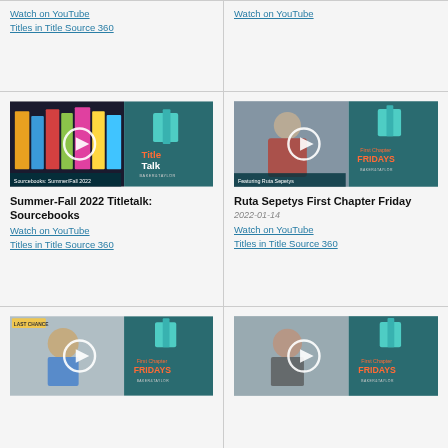Watch on YouTube
Titles in Title Source 360
Watch on YouTube
[Figure (screenshot): TitleTalk video thumbnail for Sourcebooks Summer/Fall 2022 with play button]
Summer-Fall 2022 Titletalk: Sourcebooks
Watch on YouTube
Titles in Title Source 360
[Figure (screenshot): First Chapter Fridays video thumbnail featuring Ruta Sepetys with play button]
Ruta Sepetys First Chapter Friday
2022-01-14
Watch on YouTube
Titles in Title Source 360
[Figure (screenshot): First Chapter Fridays video thumbnail with child, partially visible]
[Figure (screenshot): First Chapter Fridays video thumbnail with woman, partially visible]